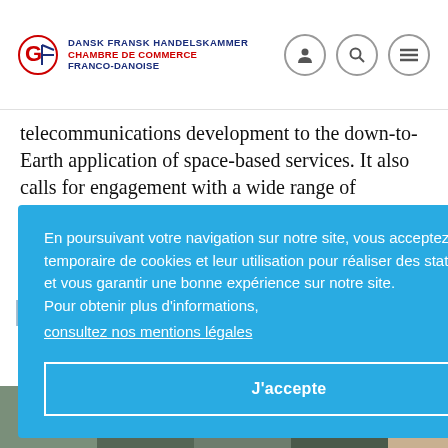DANSK FRANSK HANDELSKAMMER CHAMBRE DE COMMERCE FRANCO-DANOISE
telecommunications development to the down-to-Earth application of space-based services. It also calls for engagement with a wide range of industrial, academic and institutional partner...
En poursuivant votre navigation sur notre site, vous acceptez l'installation temporaire de cookies et leur utilisation pour réaliser des statistiques de visites et vous garantir une bonne expérience sur notre site. Pour obtenir plus d'informations,
consultez nos mentions légales
J'accepte
[Figure (photo): Photo strip at bottom showing group of people outdoors]